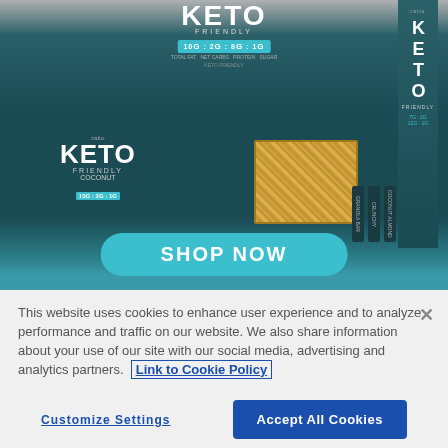[Figure (photo): Advertisement for :ratio KETO FRIENDLY products including yogurt (coconut flavor) and granola bars with a teal 'SHOP NOW' button at the bottom. Products shown on dark teal background. Keto ratio nutrition info shown: 10g total fat, 2g net carbs, 8g protein, 1g sugar.]
This website uses cookies to enhance user experience and to analyze performance and traffic on our website. We also share information about your use of our site with our social media, advertising and analytics partners. Link to Cookie Policy
Customize Settings
Accept All Cookies